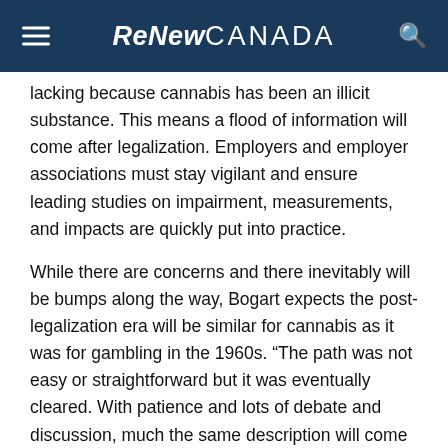ReNew CANADA
lacking because cannabis has been an illicit substance. This means a flood of information will come after legalization. Employers and employer associations must stay vigilant and ensure leading studies on impairment, measurements, and impacts are quickly put into practice.
While there are concerns and there inevitably will be bumps along the way, Bogart expects the post-legalization era will be similar for cannabis as it was for gambling in the 1960s. “The path was not easy or straightforward but it was eventually cleared. With patience and lots of debate and discussion, much the same description will come to be applied to the legalization and regulation of cannabis.”
Work safe!